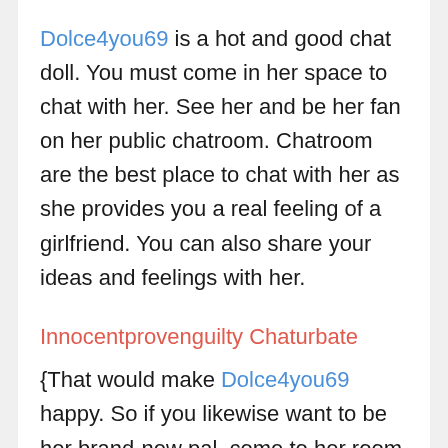Dolce4you69 is a hot and good chat doll. You must come in her space to chat with her. See her and be her fan on her public chatroom. Chatroom are the best place to chat with her as she provides you a real feeling of a girlfriend. You can also share your ideas and feelings with her.
Innocentprovenguilty Chaturbate
{That would make Dolce4you69 happy. So if you likewise want to be her brand-new pal, come to her room as soon as possible. Dolce4you69 would also give you the sex